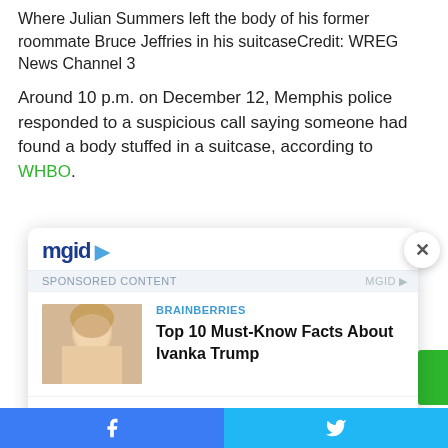Where Julian Summers left the body of his former roommate Bruce Jeffries in his suitcaseCredit: WREG News Channel 3
Around 10 p.m. on December 12, Memphis police responded to a suspicious call saying someone had found a body stuffed in a suitcase, according to WHBO.
[Figure (screenshot): MGID advertisement widget showing two sponsored article cards: 1) BRAINBERRIES - Top 10 Must-Know Facts About Ivanka Trump, 2) BRAINBERRIES - 8 Giant Prehistoric Beasts And How They Lived]
[Figure (other): Social share bar with Facebook and Twitter buttons at the bottom of the page]